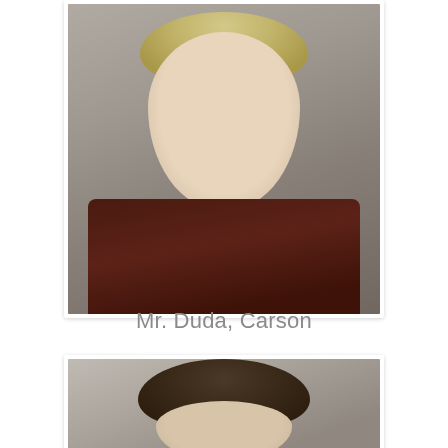[Figure (photo): Headshot of a young blonde man with blue eyes wearing a dark brown leather jacket over a teal/grey t-shirt, photographed against a grey concrete wall background]
Mr. Duda, Carson
[Figure (photo): Partial headshot of a dark-haired man, cropped at bottom of page, photographed against a grey urban background]